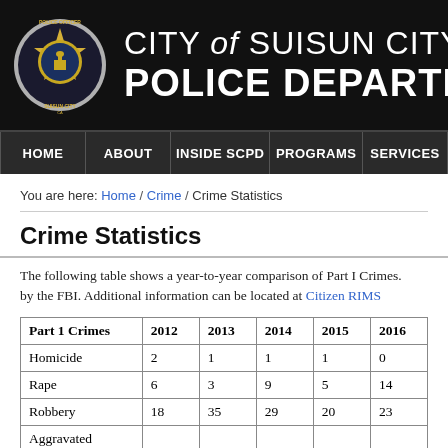CITY of SUISUN CITY POLICE DEPARTMENT
HOME | ABOUT | INSIDE SCPD | PROGRAMS | SERVICES
You are here: Home / Crime / Crime Statistics
Crime Statistics
The following table shows a year-to-year comparison of Part I Crimes. by the FBI. Additional information can be located at Citizen RIMS
| Part 1 Crimes | 2012 | 2013 | 2014 | 2015 | 2016 |
| --- | --- | --- | --- | --- | --- |
| Homicide | 2 | 1 | 1 | 1 | 0 |
| Rape | 6 | 3 | 9 | 5 | 14 |
| Robbery | 18 | 35 | 29 | 20 | 23 |
| Aggravated |  |  |  |  |  |